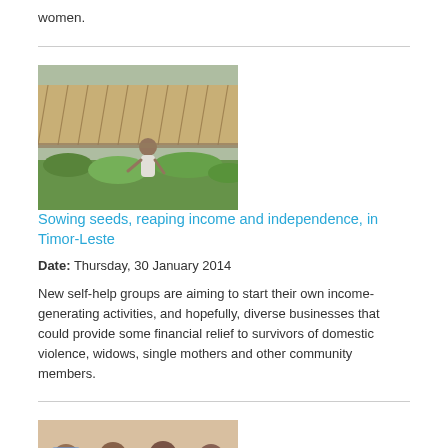women.
[Figure (photo): A woman kneeling in a garden with green plants, in front of a thatched structure in Timor-Leste]
Sowing seeds, reaping income and independence, in Timor-Leste
Date: Thursday, 30 January 2014
New self-help groups are aiming to start their own income-generating activities, and hopefully, diverse businesses that could provide some financial relief to survivors of domestic violence, widows, single mothers and other community members.
[Figure (photo): Group of smiling women sitting together at a table]